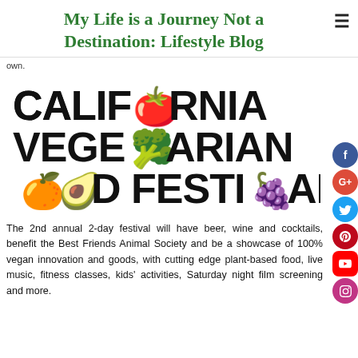My Life is a Journey Not a Destination: Lifestyle Blog
own.
[Figure (logo): California Vegetarian Food Festival logo with food emoji icons replacing letters: tomato for O in California, broccoli for O in Vegetarian, orange and avocado for OO in Food, grapes for V in Festival]
The 2nd annual 2-day festival will have beer, wine and cocktails, benefit the Best Friends Animal Society and be a showcase of 100% vegan innovation and goods, with cutting edge plant-based food, live music, fitness classes, kids' activities, Saturday night film screening and more.